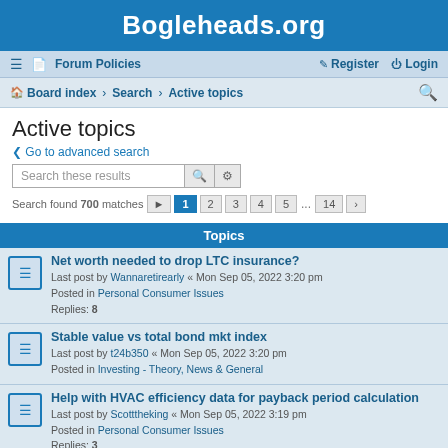Bogleheads.org
≡  Forum Policies    Register  Login
Board index › Search › Active topics
Active topics
Go to advanced search
Search these results
Search found 700 matches  1 2 3 4 5 … 14 ›
Topics
Net worth needed to drop LTC insurance?
Last post by Wannaretirearly « Mon Sep 05, 2022 3:20 pm
Posted in Personal Consumer Issues
Replies: 8
Stable value vs total bond mkt index
Last post by t24b350 « Mon Sep 05, 2022 3:20 pm
Posted in Investing - Theory, News & General
Help with HVAC efficiency data for payback period calculation
Last post by Scotttheking « Mon Sep 05, 2022 3:19 pm
Posted in Personal Consumer Issues
Replies: 3